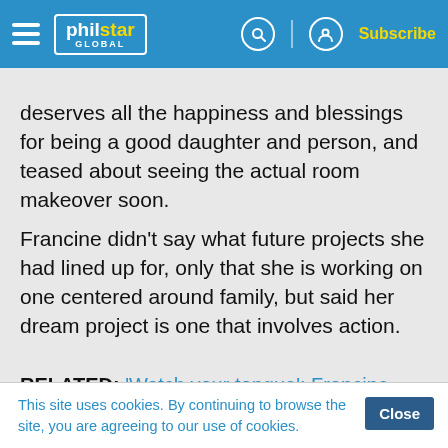philstar GLOBAL — Subscribe
deserves all the happiness and blessings for being a good daughter and person, and teased about seeing the actual room makeover soon.
Francine didn't say what future projects she had lined up for, only that she is working on one centered around family, but said her dream project is one that involves action.
RELATED: 'Watch your tongue': Francine Diaz decries bullying experience
This site uses cookies. By continuing to browse the site, you are agreeing to our use of cookies.